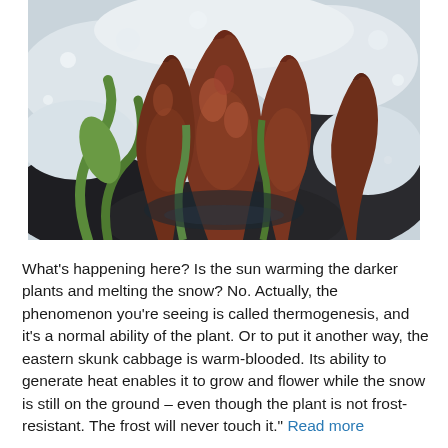[Figure (photo): Close-up photograph of eastern skunk cabbage (Symplocarpus foetidus) emerging through snow and ice. The dark reddish-brown mottled spathes (hood-shaped sheaths) are pushing up through white snow and wet dark soil/mud, with green curled leaves visible at the base. The plant is melting the surrounding snow due to thermogenesis.]
What's happening here? Is the sun warming the darker plants and melting the snow? No. Actually, the phenomenon you're seeing is called thermogenesis, and it's a normal ability of the plant. Or to put it another way, the eastern skunk cabbage is warm-blooded. Its ability to generate heat enables it to grow and flower while the snow is still on the ground – even though the plant is not frost-resistant. The frost will never touch it."  Read more